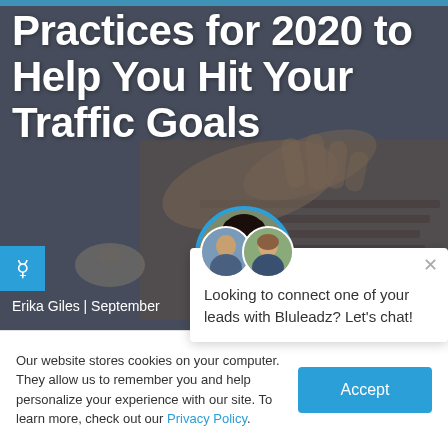[Figure (photo): Hero image: person typing on a laptop keyboard, dark/muted overlay. Title text overlay reads 'Practices for 2020 to Help You Hit Your Traffic Goals'. Author label 'Erika Giles | September...' at bottom left. Circular avatar photo of a young woman. Accessibility icon button on left.]
[Figure (screenshot): Chat popup widget with two person avatars at the top, close X button, text: 'Looking to connect one of your leads with Bluleadz? Let's chat!']
Our website stores cookies on your computer. They allow us to remember you and help personalize your experience with our site. To learn more, check out our Privacy Policy.